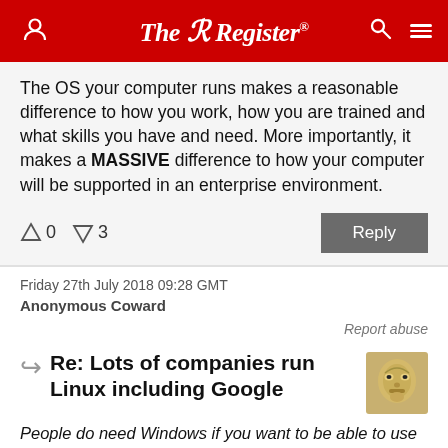The Register
The OS your computer runs makes a reasonable difference to how you work, how you are trained and what skills you have and need. More importantly, it makes a MASSIVE difference to how your computer will be supported in an enterprise environment.
↑0  ↓3   Reply
Friday 27th July 2018 09:28 GMT
Anonymous Coward
Report abuse
Re: Lots of companies run Linux including Google
People do need Windows if you want to be able to use best of breed local client applications in just about every market sector.